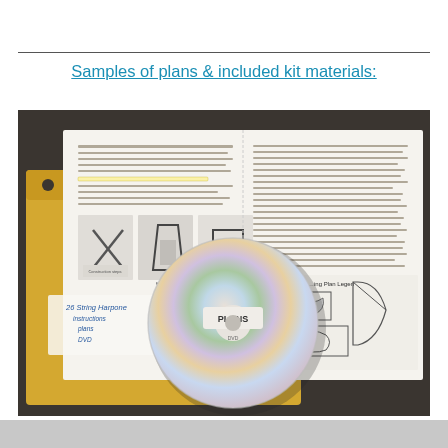Samples of plans & included kit materials:
[Figure (photo): Photograph showing harp-building kit materials laid out: an open instructional booklet/plan pages with black-and-white photos of harp construction steps and a partial technical drawing/legend, a manila envelope labelled '26 String Harpone instructions, plans, DVD', and a DVD disc labelled 'PLANS' resting on the envelope.]